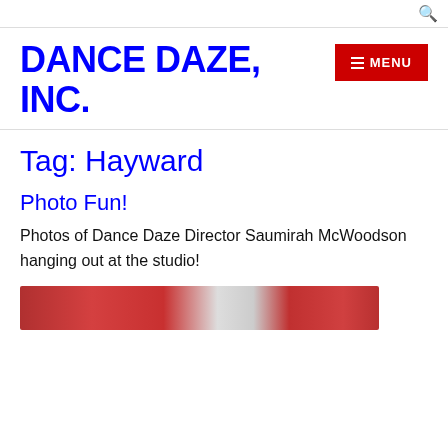🔍
DANCE DAZE, INC.
Tag: Hayward
Photo Fun!
Photos of Dance Daze Director Saumirah McWoodson hanging out at the studio!
[Figure (photo): Bottom strip showing partial photo of dance studio scene with red/orange colors]